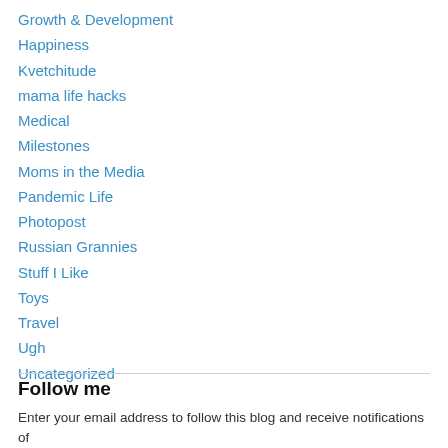Growth & Development
Happiness
Kvetchitude
mama life hacks
Medical
Milestones
Moms in the Media
Pandemic Life
Photopost
Russian Grannies
Stuff I Like
Toys
Travel
Ugh
Uncategorized
Follow me
Enter your email address to follow this blog and receive notifications of